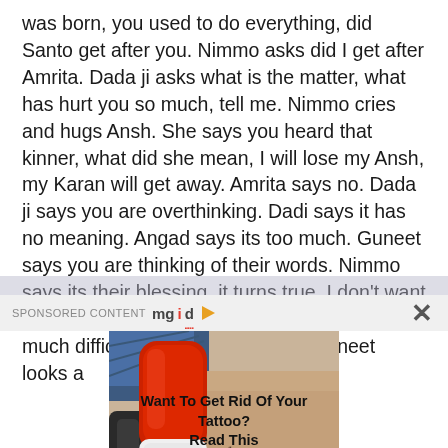was born, you used to do everything, did Santo get after you. Nimmo asks did I get after Amrita. Dada ji asks what is the matter, what has hurt you so much, tell me. Nimmo cries and hugs Ansh. She says you heard that kinner, what did she mean, I will lose my Ansh, my Karan will get away. Amrita says no. Dada ji says you are overthinking. Dadi says it has no meaning. Angad says its too much. Guneet says you are thinking of their words. Nimmo says its their blessing, it turns true, I don't want to lose Amrita and Ansh, I got Karan back by much difficulty. I won't let him go. Guneet looks a
SPONSORED CONTENT mgid
[Figure (photo): Close-up photo of a laser tattoo removal device (red and white cylindrical tool) being applied to tattooed skin on what appears to be an arm or hand.]
Want To Get Rid Of Your Tattoo? Read This